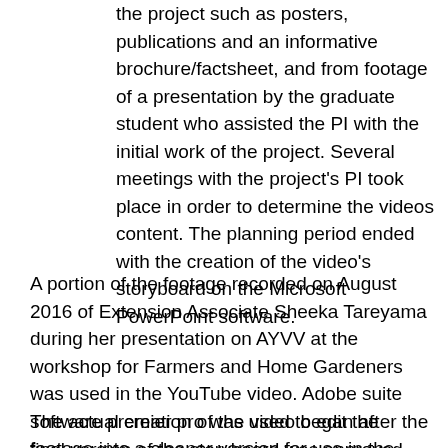the project such as posters, publications and an informative brochure/factsheet, and from footage of a presentation by the graduate student who assisted the PI with the initial work of the project. Several meetings with the project's PI took place in order to determine the videos content. The planning period ended with the creation of the video's storyboard on the Microsoft PowerPoint software.
A portion of the footage recorded on August 2016 of Extension Associate Sheeka Tareyama during her presentation on AYVV at the workshop for Farmers and Home Gardeners was used in the YouTube video. Adobe suite software premier pro was used to edit the footage into a cleaner version for use in the video.
The actual creation of the video began after the final version of the storyboard was approved and the AYVV presentation video